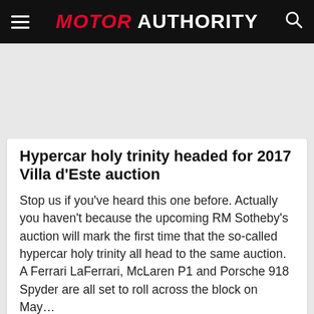MOTOR AUTHORITY
Hypercar holy trinity headed for 2017 Villa d'Este auction
Stop us if you've heard this one before. Actually you haven't because the upcoming RM Sotheby's auction will mark the first time that the so-called hypercar holy trinity all head to the same auction. A Ferrari LaFerrari, McLaren P1 and Porsche 918 Spyder are all set to roll across the block on May…
Jeff Glucker   April 15, 2017